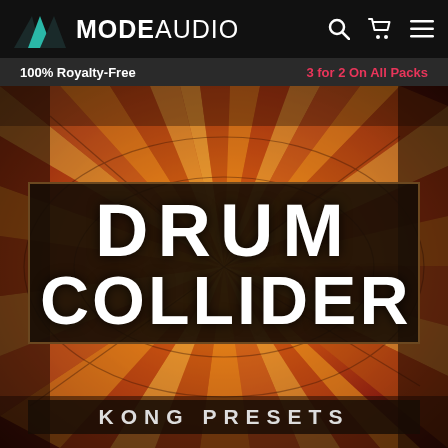[Figure (logo): ModeAudio logo with two triangle mountain shapes in teal/dark and wordmark MODE AUDIO]
100% Royalty-Free    3 for 2 On All Packs
[Figure (illustration): Drum Collider Kong Presets product artwork with starburst explosion in red, orange, yellow tones with dark overlay box showing DRUM COLLIDER KONG PRESETS text]